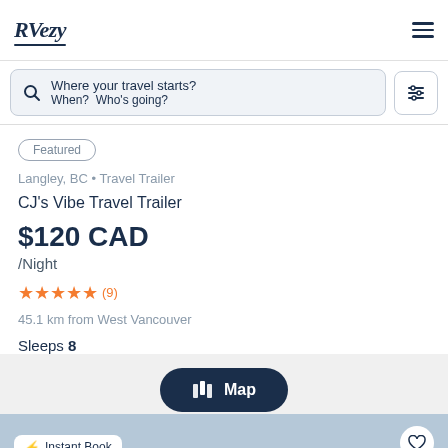RVezy
Where your travel starts? When? Who's going?
Featured
Langley, BC • Travel Trailer
CJ's Vibe Travel Trailer
$120 CAD /Night
★★★★★ (9)
45.1 km from West Vancouver
Sleeps 8
Map
Instant Book